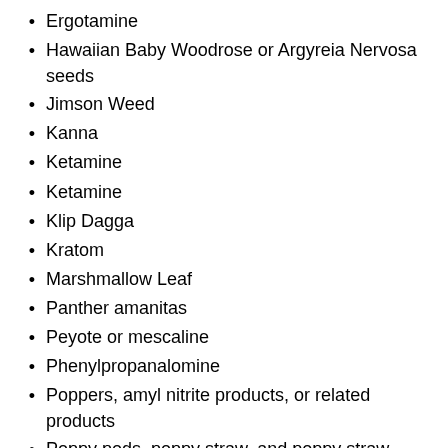Ergotamine
Hawaiian Baby Woodrose or Argyreia Nervosa seeds
Jimson Weed
Kanna
Ketamine
Ketamine
Klip Dagga
Kratom
Marshmallow Leaf
Panther amanitas
Peyote or mescaline
Phenylpropanalomine
Poppers, amyl nitrite products, or related products
Poppy pods, poppy straw, and poppy straw concentrate
Poppy tea (tea brewed from poppy seeds, pods, or straw)
Pseudoephedrine
Psilocybe Cubensis